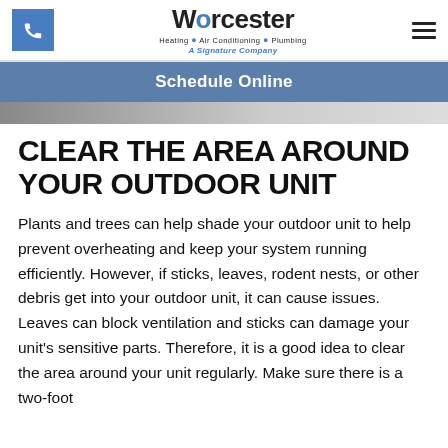Worcester Heating · Air Conditioning · Plumbing — A Signature Company
Schedule Online
[Figure (photo): Partial image strip visible at top of content area, appears to be an outdoor AC unit or related image]
CLEAR THE AREA AROUND YOUR OUTDOOR UNIT
Plants and trees can help shade your outdoor unit to help prevent overheating and keep your system running efficiently. However, if sticks, leaves, rodent nests, or other debris get into your outdoor unit, it can cause issues. Leaves can block ventilation and sticks can damage your unit's sensitive parts. Therefore, it is a good idea to clear the area around your unit regularly. Make sure there is a two-foot